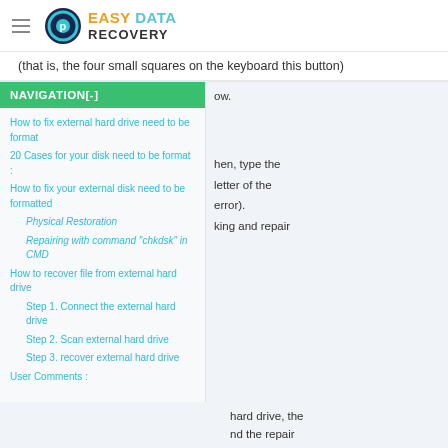[Figure (logo): Easy Data Recovery logo with hamburger menu icon]
(that is, the four small squares on the keyboard this button)
ow.
NAVIGATION[-]
How to fix external hard drive need to be format
20 Cases for your disk need to be format :
How to fix your external disk need to be formatted
Physical Restoration
Repairing with command "chkdsk" in CMD
How to recover file from external hard drive
Step 1. Connect the external hard drive
Step 2. Scan external hard drive
Step 3. recover external hard drive
User Comments :
hen, type the letter of the error). king and repair
hard drive, the nd the repair